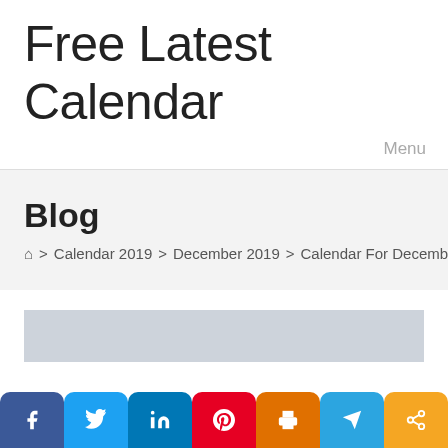Free Latest Calendar
Menu
Blog
🏠 > Calendar 2019 > December 2019 > Calendar For December 201
[Figure (other): Gray image placeholder area at bottom of content section]
[Figure (infographic): Social media sharing bar with buttons: Facebook (f), Twitter (bird), LinkedIn (in), Pinterest (P), Print (printer icon), Telegram (paper plane), Share (share icon)]